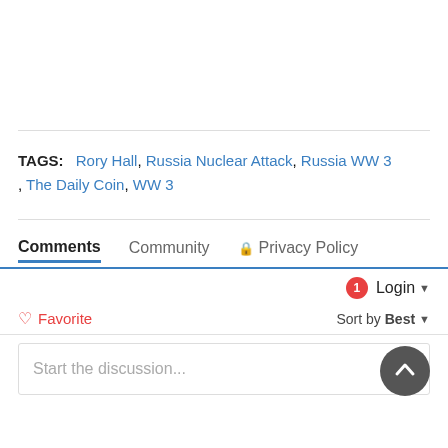TAGS: Rory Hall, Russia Nuclear Attack, Russia WW 3, The Daily Coin, WW 3
Comments  Community  Privacy Policy
1  Login
Favorite  Sort by Best
Start the discussion...